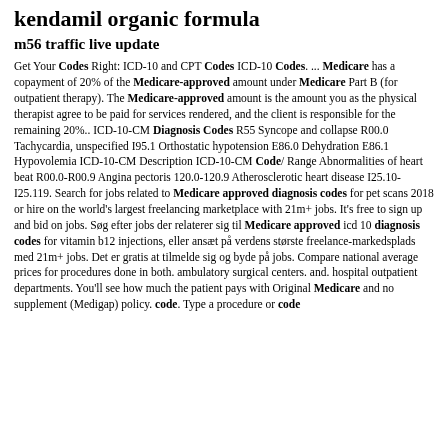kendamil organic formula
m56 traffic live update
Get Your Codes Right: ICD-10 and CPT Codes ICD-10 Codes. ... Medicare has a copayment of 20% of the Medicare-approved amount under Medicare Part B (for outpatient therapy). The Medicare-approved amount is the amount you as the physical therapist agree to be paid for services rendered, and the client is responsible for the remaining 20%.. ICD-10-CM Diagnosis Codes R55 Syncope and collapse R00.0 Tachycardia, unspecified I95.1 Orthostatic hypotension E86.0 Dehydration E86.1 Hypovolemia ICD-10-CM Description ICD-10-CM Code/ Range Abnormalities of heart beat R00.0-R00.9 Angina pectoris 120.0-120.9 Atherosclerotic heart disease I25.10-I25.119. Search for jobs related to Medicare approved diagnosis codes for pet scans 2018 or hire on the world's largest freelancing marketplace with 21m+ jobs. It's free to sign up and bid on jobs. Søg efter jobs der relaterer sig til Medicare approved icd 10 diagnosis codes for vitamin b12 injections, eller ansæt på verdens største freelance-markedsplads med 21m+ jobs. Det er gratis at tilmelde sig og byde på jobs. Compare national average prices for procedures done in both. ambulatory surgical centers. and. hospital outpatient departments. You'll see how much the patient pays with Original Medicare and no supplement (Medigap) policy. code. Type a procedure or code